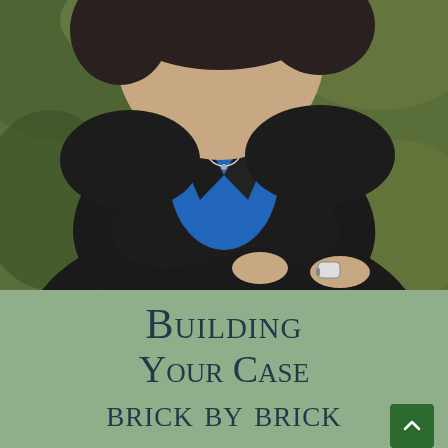[Figure (photo): Professional portrait photo of a person wearing a black blazer over a blue top, arms crossed, with a watch on the wrist, outdoor blurred green background]
Building Your Case brick by brick